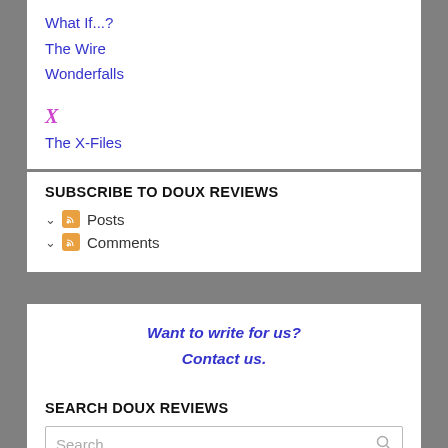What If...?
The Wire
Wonderfalls
X
The X-Files
SUBSCRIBE TO DOUX REVIEWS
Posts
Comments
Want to write for us? Contact us.
SEARCH DOUX REVIEWS